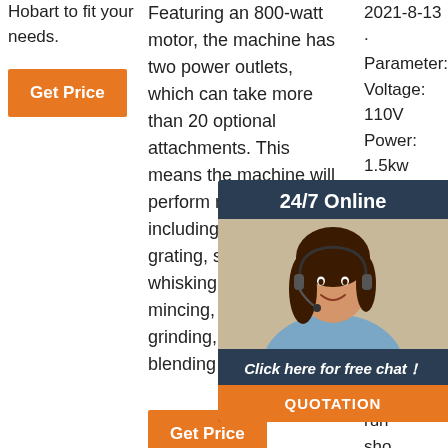Hobart to fit your needs.
Get Price
Featuring an 800-watt motor, the machine has two power outlets, which can take more than 20 optional attachments. This means the machine will perform multiple tasks including chopping, grating, slicing, whisking, kneading, mincing, mixing, grinding, milling, blending or squeezing
Get Price
2021-8-13 · Parameter: Voltage: 110V Power: 1.5kw Maximum mixing dou... QT) bow 39.5 (abo inch 68k... Ope... run... sho... flat ground. 2, Put the flour into a bucket first, adding the proper water to mix, running for 8-10 minutes. 3, Do not
[Figure (infographic): 24/7 Online chat widget with agent photo, 'Click here for free chat!' text, and orange QUOTATION button]